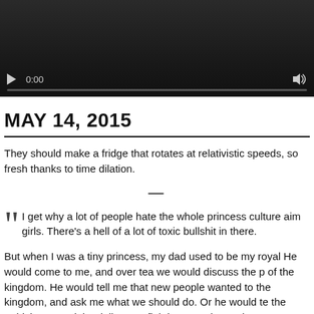[Figure (screenshot): Video player with dark background showing play button, time display 0:00, volume icon, and progress bar]
MAY 14, 2015
They should make a fridge that rotates at relativistic speeds, so fresh thanks to time dilation.
I get why a lot of people hate the whole princess culture aimed at girls. There's a hell of a lot of toxic bullshit in there.
But when I was a tiny princess, my dad used to be my royal He would come to me, and over tea we would discuss the of the kingdom. He would tell me that new people wanted to the kingdom, and ask me what we should do. Or he would te the teddybears and the dolls were fighting over the enchante